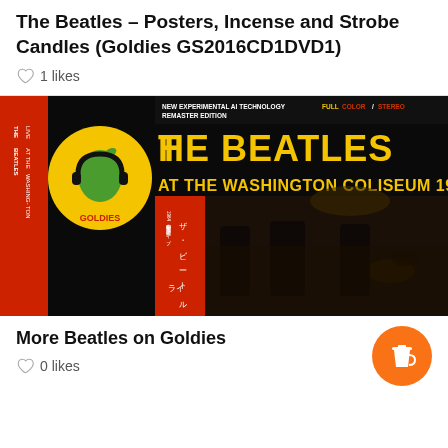The Beatles – Posters, Incense and Strobe Candles (Goldies GS2016CD1DVD1)
1 likes
[Figure (photo): Album cover for The Beatles at the Washington Coliseum 1964 - Goldies label, featuring Japanese text and live concert photo with text: NEW EXPERIMENTAL AI TECHNOLOGY FULLCOLOR/STEREO REMASTER EDITION, THE BEATLES AT THE WASHINGTON COLISEUM 1964]
More Beatles on Goldies
0 likes